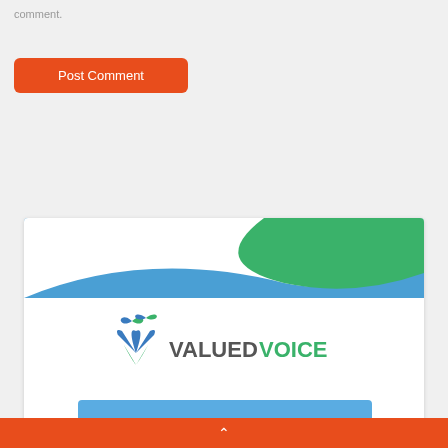comment.
Post Comment
[Figure (logo): Valued Voice logo with blue and green bird/leaf shapes and text VALUEDVOICE on a white card with blue-to-green curved header background]
^